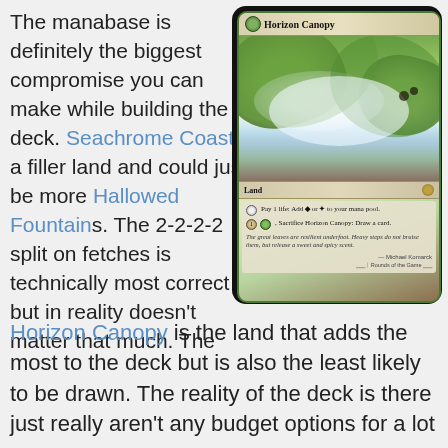The manabase is definitely the biggest compromise you can make while building the deck. Seachrome Coast is a filler land and could just be more Hallowed Fountains. The 2-2-2-2 split on fetches is technically most correct but in reality doesn't matter that much. The Horizon Canopy is the land that adds the most to the deck but is also the least likely to be drawn. The reality of the deck is there just really aren't any budget options for a lot
[Figure (illustration): Magic: The Gathering card - Horizon Canopy. A Land card showing green leaves with misty background. Card text: Pay 1 life: Add green or white to your mana pool. 1, Sacrifice Horizon Canopy: Draw a card. Flavor text: The great leaves are resilient underfoot. Heavy steps do not bruise them, but release a sweet and spicy scent. Artist: Michael Komarck.]